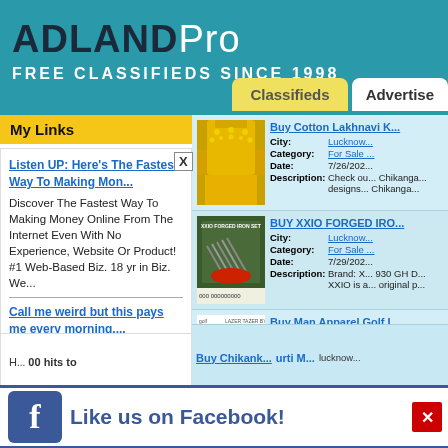ADLANDPro FREE CLASSIFIEDS SINCE 1998
My Links
Listen UP: Here's The Fastest Way To Making Mon...
Discover The Fastest Way To Making Money Online From The Internet Even With No Experience, Website Or Product! #1 Web-Based Biz. 18 yr in Biz. We...
Call me weird but this pays me every morning....
I have a lot of income streams. But, more and more, I check this one every morning before everything else....
Your own classified system
Earn 100% commissions
[Figure (photo): Yellow Lakhnavi Kurti dress on mannequin]
Buy Cotton Lakhnavi K...
City: Lucknow...
Category: For Sale ...
Date: 7/26/202...
Description: Check ou... Chikanga... designs... Chikanga...
[Figure (photo): XXIO Forged Iron Set golf clubs with bag]
BUY XXIO FORGED IRO...
City: Lucknow...
Category: For Sale ...
Date: 7/29/202...
Description: Brand: X... 930 GH D... XXIO is a... original p...
[Figure (photo): Brown golf polo shirt from Golf Garage]
Buy Man Apparel Golf L...
City: Lucknow...
Category: For Sale
Date: 8/3/2022
Description: Buy Golf... Free ship... buy Golf...
Buy Chikanki... urti M...
lucknow...
Like us on Facebook!